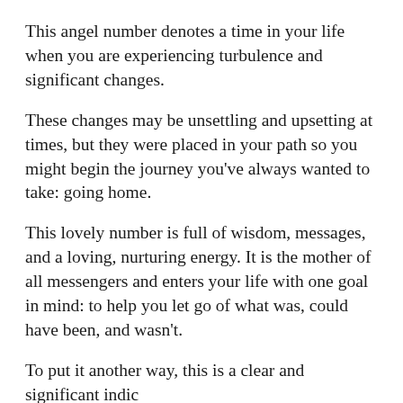This angel number denotes a time in your life when you are experiencing turbulence and significant changes.
These changes may be unsettling and upsetting at times, but they were placed in your path so you might begin the journey you've always wanted to take: going home.
This lovely number is full of wisdom, messages, and a loving, nurturing energy. It is the mother of all messengers and enters your life with one goal in mind: to help you let go of what was, could have been, and wasn't.
To put it another way, this is a clear and significant indication that...